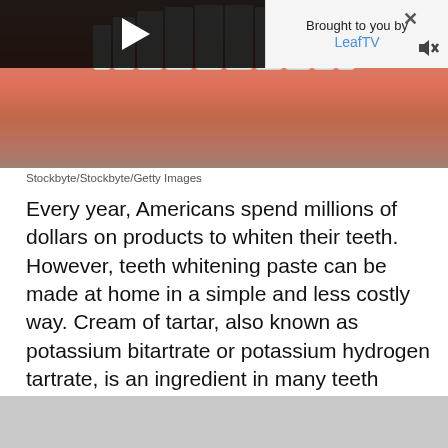[Figure (photo): Close-up photo of human mouth/lips and teeth, with a video player overlay on the left showing a play button on black background, and an ad panel on the right reading 'Brought to you by LeafTV' with close and mute icons.]
Stockbyte/Stockbyte/Getty Images
Every year, Americans spend millions of dollars on products to whiten their teeth. However, teeth whitening paste can be made at home in a simple and less costly way. Cream of tartar, also known as potassium bitartrate or potassium hydrogen tartrate, is an ingredient in many teeth whitening products and can be found in most kitchens.